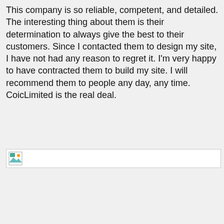This company is so reliable, competent, and detailed. The interesting thing about them is their determination to always give the best to their customers. Since I contacted them to design my site, I have not had any reason to regret it. I'm very happy to have contracted them to build my site. I will recommend them to people any day, any time. CoicLimited is the real deal.
[Figure (other): Broken/missing image placeholder icon]